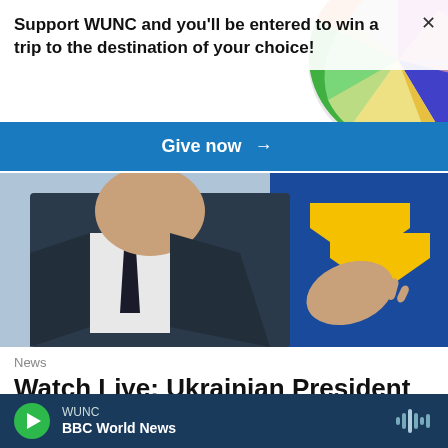[Figure (photo): Colorful globe/circular graphic with multicolored segments in top-right background area]
Support WUNC and you'll be entered to win a trip to the destination of your choice!
Give now →
[Figure (photo): Photo of Ukrainian President Volodymyr Zelenskyy in a dark suit and tie, gesturing with one hand, with a blue and yellow flag visible in the background]
News
Watch Live: Ukrainian President Volodymyr Zelenskyy delivers
WUNC
BBC World News